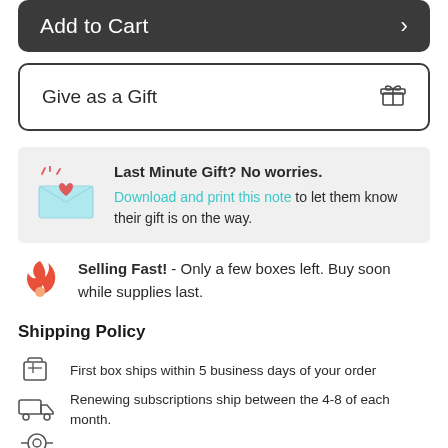Add to Cart →
Give as a Gift 🎁
Last Minute Gift? No worries. Download and print this note to let them know their gift is on the way.
Selling Fast! - Only a few boxes left. Buy soon while supplies last.
Shipping Policy
First box ships within 5 business days of your order
Renewing subscriptions ship between the 4-8 of each month.